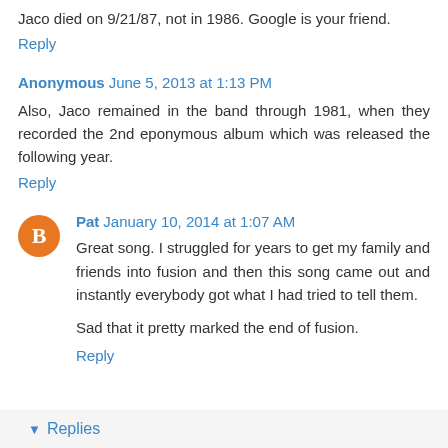Jaco died on 9/21/87, not in 1986. Google is your friend.
Reply
Anonymous June 5, 2013 at 1:13 PM
Also, Jaco remained in the band through 1981, when they recorded the 2nd eponymous album which was released the following year.
Reply
Pat January 10, 2014 at 1:07 AM
Great song. I struggled for years to get my family and friends into fusion and then this song came out and instantly everybody got what I had tried to tell them.

Sad that it pretty marked the end of fusion.
Reply
Replies